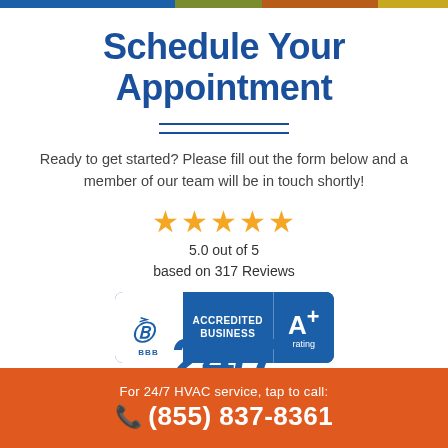Schedule Your Appointment
Ready to get started? Please fill out the form below and a member of our team will be in touch shortly!
[Figure (infographic): Five gold stars rating: 5.0 out of 5 based on 317 Reviews]
[Figure (logo): BBB Accredited Business A+ rating badge with gold stars and 'Most HVAC 5 Star Reviews!' caption]
For 24/7 HVAC service, tap to call: (855) 837-8361